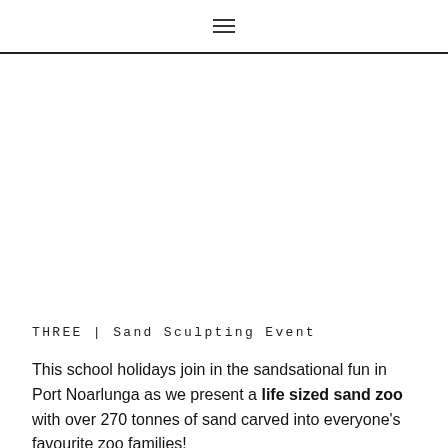≡
[Figure (photo): Large blank/white image area placeholder for a photo of a sand sculpting event in Port Noarlunga]
THREE | Sand Sculpting Event
This school holidays join in the sandsational fun in Port Noarlunga as we present a life sized sand zoo with over 270 tonnes of sand carved into everyone's favourite zoo families!